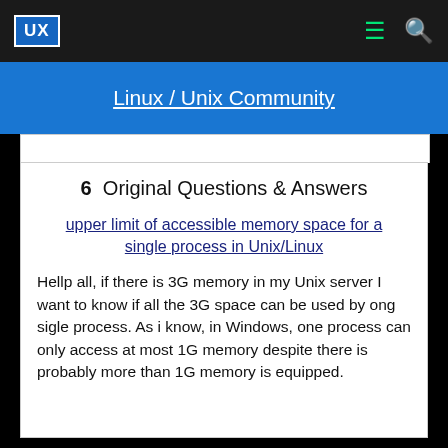UX  Linux / Unix Community
Linux / Unix Community
6  Original Questions & Answers
upper limit of accessible memory space for a single process in Unix/Linux
Hellp all, if there is 3G memory in my Unix server I want to know if all the 3G space can be used by ong sigle process. As i know, in Windows, one process can only access at most 1G memory despite there is probably more than 1G memory is equipped.